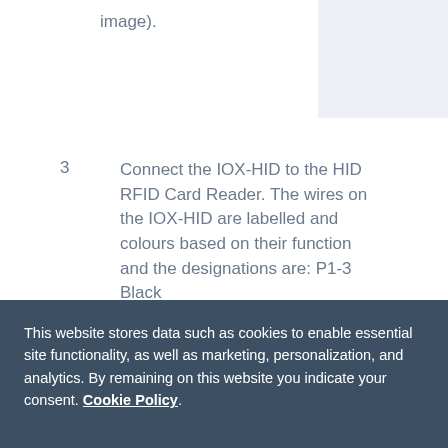image).
3   Connect the IOX-HID to the HID RFID Card Reader. The wires on the IOX-HID are labelled and colours based on their function and the designations are: P1-3 Black
This website stores data such as cookies to enable essential site functionality, as well as marketing, personalization, and analytics. By remaining on this website you indicate your consent. Cookie Policy.